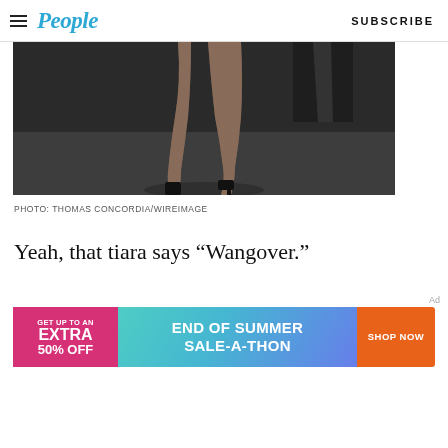People | SUBSCRIBE
[Figure (photo): Close-up of model's legs on a dark runway, wearing sheer hosiery and black heels, walking on a dimly lit gray runway surface.]
PHOTO: THOMAS CONCORDIA/WIREIMAGE
Yeah, that tiara says “Wangover.”
[Figure (other): Advertisement banner: GET UP TO AN EXTRA 50% OFF | END OF SUMMER SALE-A-THON | SHOP NOW]